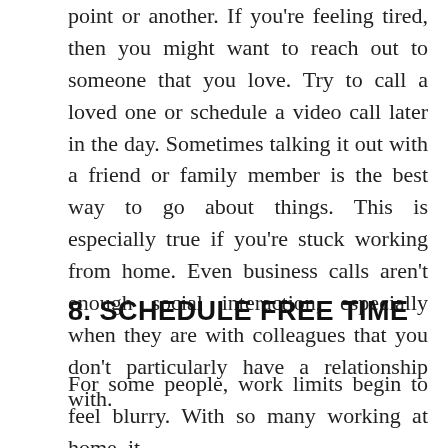point or another. If you're feeling tired, then you might want to reach out to someone that you love. Try to call a loved one or schedule a video call later in the day. Sometimes talking it out with a friend or family member is the best way to go about things. This is especially true if you're stuck working from home. Even business calls aren't enough social interaction, especially when they are with colleagues that you don't particularly have a relationship with.
8. SCHEDULE FREE TIME
For some people, work limits begin to feel blurry. With so many working at home, it